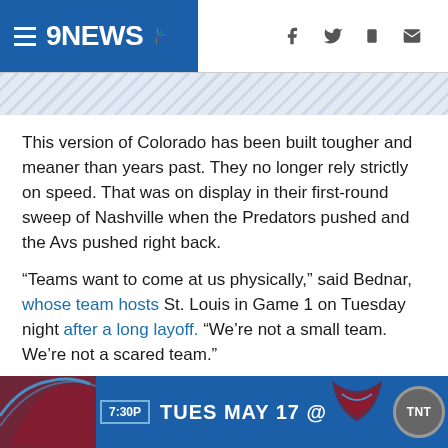9NEWS
This version of Colorado has been built tougher and meaner than years past. They no longer rely strictly on speed. That was on display in their first-round sweep of Nashville when the Predators pushed and the Avs pushed right back.
“Teams want to come at us physically,” said Bednar, whose team hosts St. Louis in Game 1 on Tuesday night after a long layoff. “We’re not a small team. We’re not a scared team.”
RELATED: Playoff schedule for Avalanche vs. Blues second-round series released
[Figure (infographic): Colorado Avalanche game advertisement banner: 7:30P TUES MAY 17 @ Avalanche logo, TNT logo on blue background]